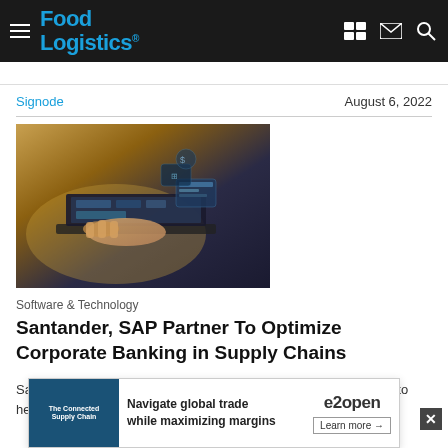Food Logistics
Signode    August 6, 2022
[Figure (photo): Person typing on a laptop keyboard with digital interface overlays visible, dark blue and amber tones]
Software & Technology
Santander, SAP Partner To Optimize Corporate Banking in Supply Chains
Santander CIB and SAP make an agreement to develop solutions to help co... a financial s...
[Figure (infographic): e2open advertisement banner: 'Navigate global trade while maximizing margins' with Learn more button]